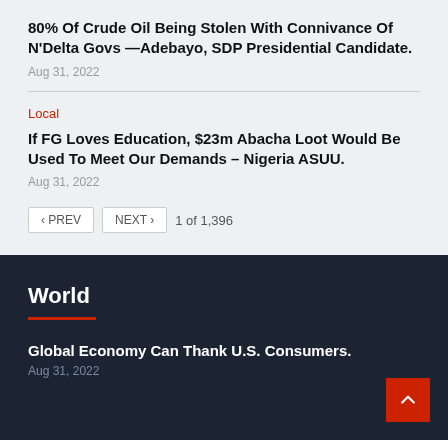80% Of Crude Oil Being Stolen With Connivance Of N'Delta Govs —Adebayo, SDP Presidential Candidate.
Aug 31, 2022
Local
If FG Loves Education, $23m Abacha Loot Would Be Used To Meet Our Demands – Nigeria ASUU.
Aug 31, 2022
‹ PREV   NEXT ›   1 of 1,396
World
Global Economy Can Thank U.S. Consumers.
Aug 31, 2022